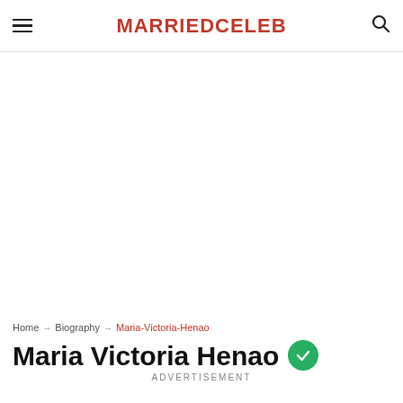MARRIEDCELEB
Home → Biography → Maria-Victoria-Henao
Maria Victoria Henao
ADVERTISEMENT